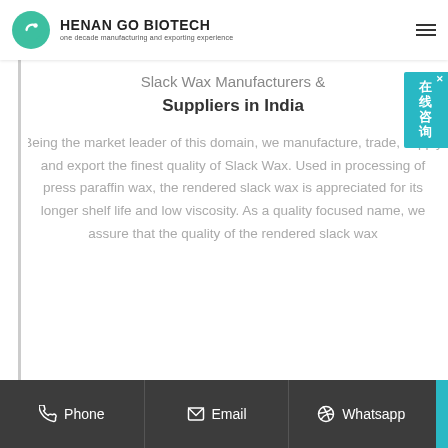HENAN GO BIOTECH — one decade manufacturing and exporting experience
Slack Wax Manufacturers & Suppliers in India
Being the market leader of this domain, we manufacture, trade, supply and export the finest quality of Slack Wax. Used in processing of press paraffin wax, the rendered slack wax is appreciated for its longer shelf life and low viscosity. As a quality focused name, we assure that the quality of the rendered slack wax
Phone | Email | Whatsapp